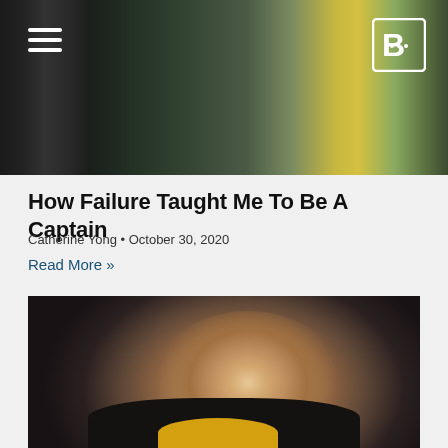[Figure (photo): Dark header banner with a partially visible photo showing flowers and background, hamburger menu icon on left, stylized B logo on right]
How Failure Taught Me To Be A Captain
Catherine Yong • October 30, 2020
Read More »
[Figure (photo): Photo of a smiling young man with short dark hair and a goatee, wearing a black jacket with yellow collar, appearing to be in a school or classroom setting]